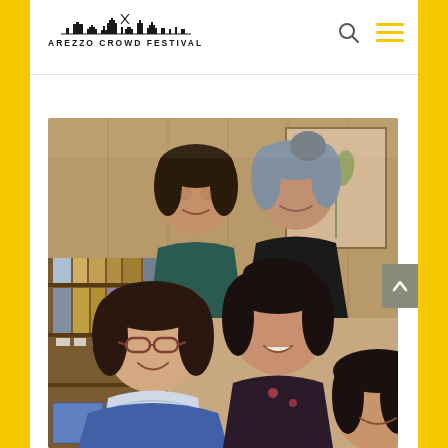Arezzo Crowd Festival
[Figure (photo): Group selfie photo of five women smiling, taken in what appears to be an office setting with bookshelves and framed artwork in the background. Two women are standing in the back row, and three women are in the front row, one taking the selfie from below.]